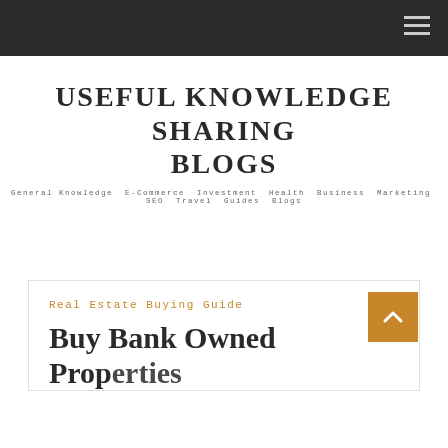USEFUL KNOWLEDGE SHARING BLOGS
General Knowledge E-Commerce Investment Health Business Marketing SEO Travel Guides Blogs
Real Estate Buying Guide
Buy Bank Owned Properties